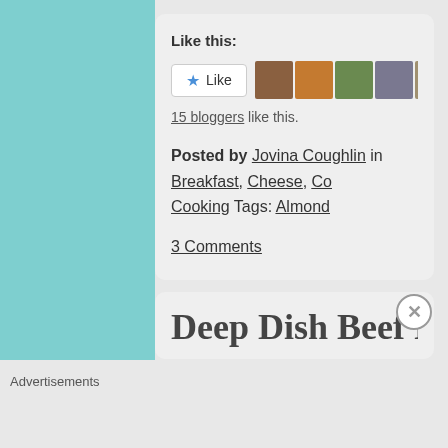Like this:
[Figure (other): Like button with star icon and row of blogger avatar thumbnails]
15 bloggers like this.
Posted by Jovina Coughlin in Breakfast, Cheese, Co... Cooking Tags: Almond
3 Comments
Deep Dish Beef Pot Pi...
Advertisements